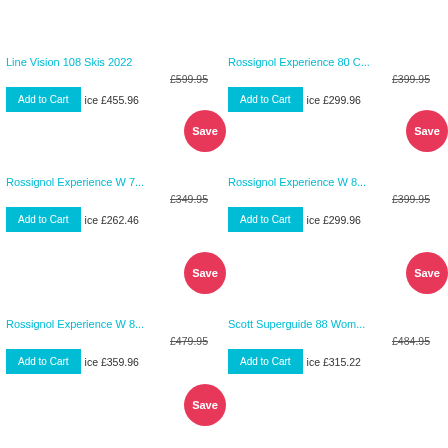Line Vision 108 Skis 2022
£599.95
ice £455.96
Rossignol Experience 80 C...
£399.95
ice £299.96
Save
Rossignol Experience W 7...
£349.95
ice £262.46
Save
Rossignol Experience W 8...
£399.95
ice £299.96
Save
Rossignol Experience W 8...
£479.95
ice £359.96
Save
Scott Superguide 88 Wom...
£484.95
ice £315.22
Save
Scott Superguide 95 Tourn...